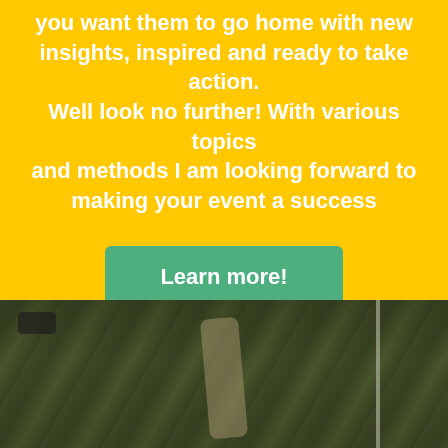you want them to go home with new insights, inspired and ready to take action. Well look no further! With various topics and methods I am looking forward to making your event a success
Learn more!
[Figure (photo): Aerial/overhead view of an outdoor park or street scene with green trees, a path, a dark vehicle on the left, and a pole on the right, against a dark toned background.]